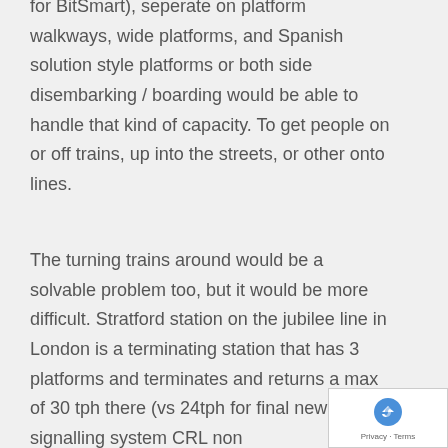for BitSmart), seperate on platform walkways, wide platforms, and Spanish solution style platforms or both side disembarking / boarding would be able to handle that kind of capacity. To get people on or off trains, up into the streets, or other onto lines.
The turning trains around would be a solvable problem too, but it would be more difficult. Stratford station on the jubilee line in London is a terminating station that has 3 platforms and terminates and returns a max of 30 tph there (vs 24tph for final new signalling system CRL non